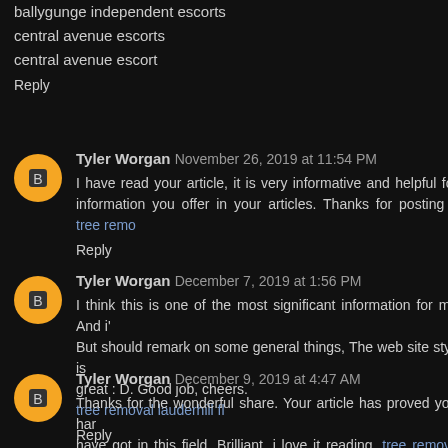ballygunge independent escorts
central avenue escorts
central avenue escort
Reply
Tyler Worgan  November 26, 2019 at 11:54 PM
I have read your article, it is very informative and helpful for information you offer in your articles. Thanks for posting it. tree remo
Reply
Tyler Worgan  December 7, 2019 at 1:56 PM
I think this is one of the most significant information for me. And i' But should remark on some general things, The web site style is great : D. Good job, cheers.
tree removal lauderhill fl
Reply
Tyler Worgan  December 9, 2019 at 4:47 AM
Thanks for the wonderful share. Your article has proved your har have got in this field. Brilliant .i love it reading. tree removal services
Reply